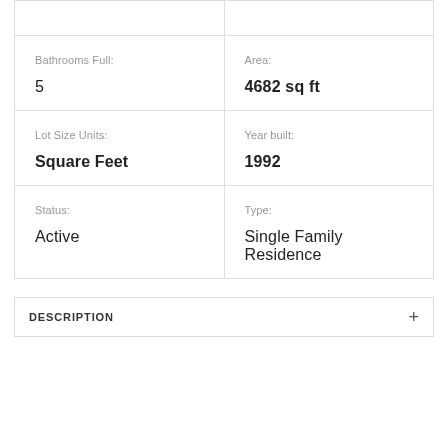|  |  |
| Bathrooms Full:
5 | Area:
4682 sq ft |
| Lot Size Units:
Square Feet | Year built:
1992 |
| Status:
Active | Type:
Single Family Residence |
DESCRIPTION